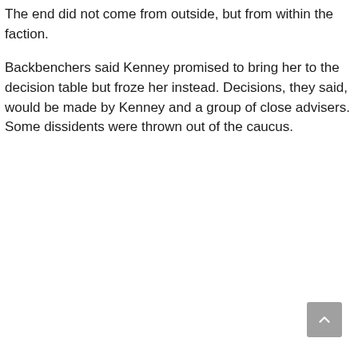The end did not come from outside, but from within the faction.
Backbenchers said Kenney promised to bring her to the decision table but froze her instead. Decisions, they said, would be made by Kenney and a group of close advisers. Some dissidents were thrown out of the caucus.